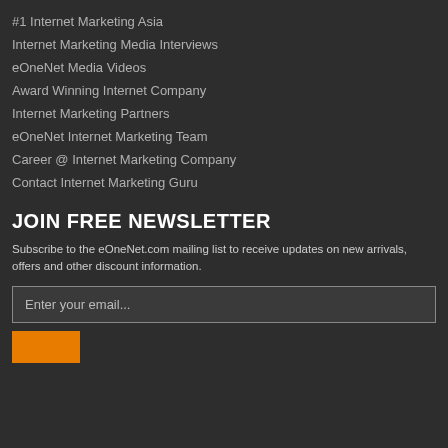#1 Internet Marketing Asia
Internet Marketing Media Interviews
eOneNet Media Videos
Award Winning Internet Company
Internet Marketing Partners
eOneNet Internet Marketing Team
Career @ Internet Marketing Company
Contact Internet Marketing Guru
JOIN FREE NEWSLETTER
Subscribe to the eOneNet.com mailing list to receive updates on new arrivals, offers and other discount information.
Enter your email...